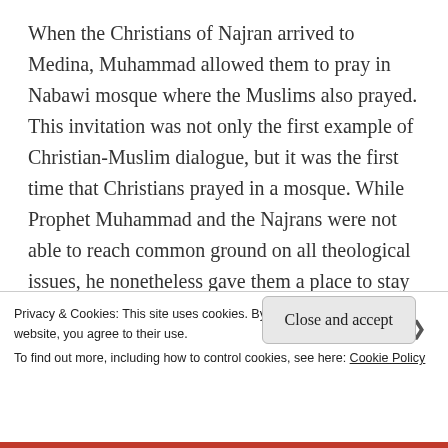When the Christians of Najran arrived to Medina, Muhammad allowed them to pray in Nabawi mosque where the Muslims also prayed. This invitation was not only the first example of Christian-Muslim dialogue, but it was the first time that Christians prayed in a mosque. While Prophet Muhammad and the Najrans were not able to reach common ground on all theological issues, he nonetheless gave them a place to stay near his home, and even ordered Muslims to pitch their tent.
Privacy & Cookies: This site uses cookies. By continuing to use this website, you agree to their use.
To find out more, including how to control cookies, see here: Cookie Policy